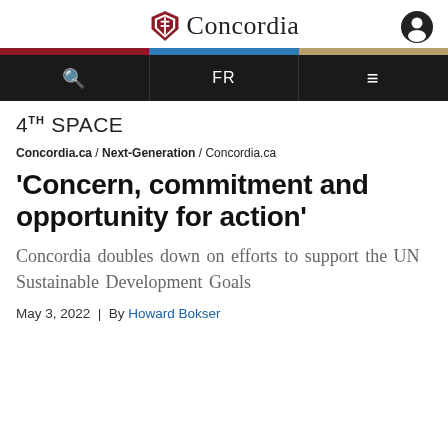Concordia
4TH SPACE
Concordia.ca / Next-Generation / Concordia.ca
'Concern, commitment and opportunity for action'
Concordia doubles down on efforts to support the UN Sustainable Development Goals
May 3, 2022 | By Howard Bokser